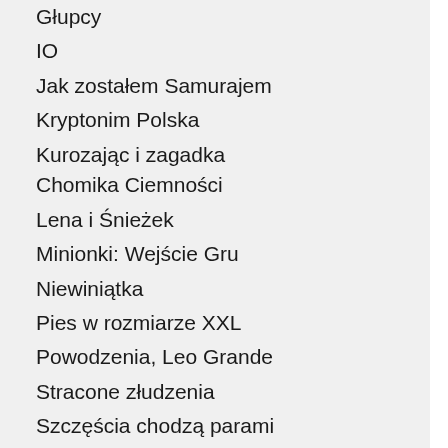Głupcy
IO
Jak zostałem Samurajem
Kryptonim Polska
Kurozając i zagadka Chomika Ciemności
Lena i Śnieżek
Minionki: Wejście Gru
Niewiniątka
Pies w rozmiarze XXL
Powodzenia, Leo Grande
Stracone złudzenia
Szczęścia chodzą parami
Thor: Miłość i Grom
Top Gun: Maverick
W rytmie rumby
Wulkan miłości
tick, tick...BOOM! (orig. tick, tick...)
Tragedia Makbeta (orig. The T...)
King Richard: Zwycięska rodzin...
Najlepsza Aktorka (...)
Zdobywca Oskara: Oczy Tamm...
Nominowani:
Córka (orig. The Lost Daughter...
Matki równoległe (orig. Madre...
Being the Ricardos (orig. Being...
Spencer (orig. Spencer) - KRIST...
Najlepszy Aktor Dru... Supporting Role)
Zdobywca Oskara: CODA - TRO...
Nominowani:
Belfast (orig. Belfast) - CIARÁN...
Psie pazury (orig. The Power o...
Being the Ricardos (orig. Being...
Psie pazury (orig. The Power o...